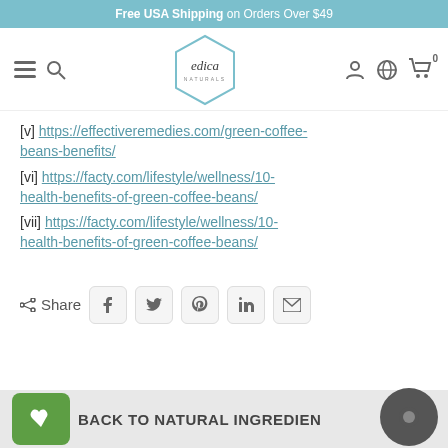Free USA Shipping on Orders Over $49
[Figure (logo): Edica Naturals logo in a diamond shape with navigation icons]
[v] https://effectiveremedies.com/green-coffee-beans-benefits/
[vi] https://facty.com/lifestyle/wellness/10-health-benefits-of-green-coffee-beans/
[vii] https://facty.com/lifestyle/wellness/10-health-benefits-of-green-coffee-beans/
Share
BACK TO NATURAL INGREDIENTS